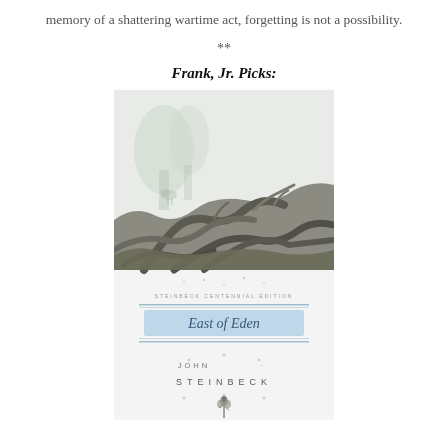memory of a shattering wartime act, forgetting is not a possibility.
**
Frank, Jr. Picks:
[Figure (illustration): Book cover of 'East of Eden' by John Steinbeck. The top half shows a detailed pencil/charcoal drawing of gnarled tree roots and branches with a faint forest and deer scene in the background. The bottom half shows the book title 'East of Eden' in italic script on a light blue banner with decorative horizontal lines. Below that 'JOHN STEINBECK' appears in spaced capital letters, and at the bottom is a small decorative floral emblem.]